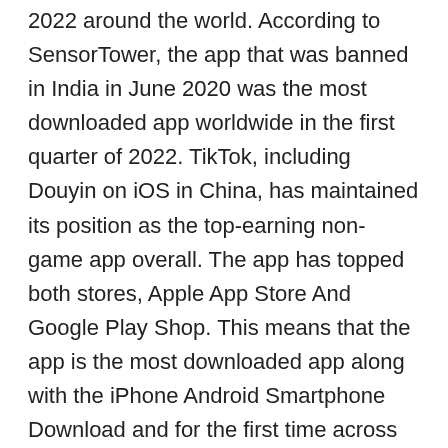2022 around the world. According to SensorTower, the app that was banned in India in June 2020 was the most downloaded app worldwide in the first quarter of 2022. TikTok, including Douyin on iOS in China, has maintained its position as the top-earning non-game app overall. The app has topped both stores, Apple App Store And Google Play Shop. This means that the app is the most downloaded app along with the iPhone Android Smartphone Download and for the first time across the App Store Google Play 1Q22 grew 1.1 percent Y / Y, reaching 36.8 billion downloads Both platforms saw almost the same growth, with Apple's Marketplace growing 1.2 percent Y / Y to 8.5 billion downloads and Google's Store growing 1.1 percent Y / Y to 28.3 billion. TikTok has seen the most downloads on both marketplaces as well as Apple's